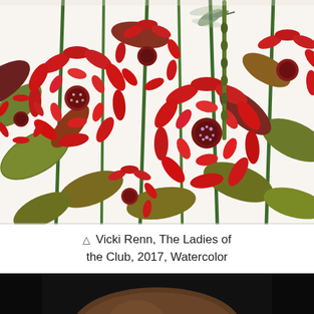[Figure (illustration): A detailed watercolor illustration of red and deep crimson bee balm (monarda) flowers with rich green and brown-red leaves on tall stems, painted in an intricate botanical style against a white background. A hummingbird is partially visible near the top center.]
△ Vicki Renn, The Ladies of the Club, 2017, Watercolor
[Figure (photo): A dark, mostly black photograph with a warm brown spherical or oval form (possibly a ceramic vessel or gourd) visible at the bottom, set against a near-black background.]